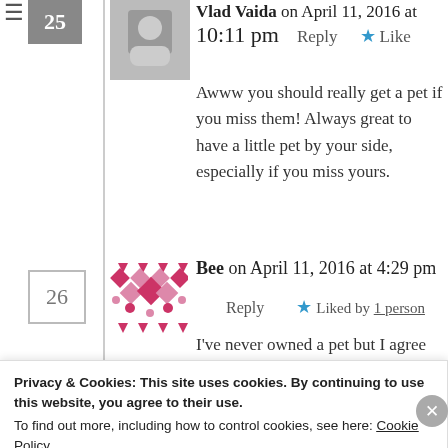Vlad Vaida on April 11, 2016 at 10:11 pm · Reply · Like
Awww you should really get a pet if you miss them! Always great to have a little pet by your side, especially if you miss yours.
Bee on April 11, 2016 at 4:29 pm · Reply · Liked by 1 person
I've never owned a pet but I agree especially with the fact that they give a sense of responsibility.
Privacy & Cookies: This site uses cookies. By continuing to use this website, you agree to their use.
To find out more, including how to control cookies, see here: Cookie Policy
Close and accept